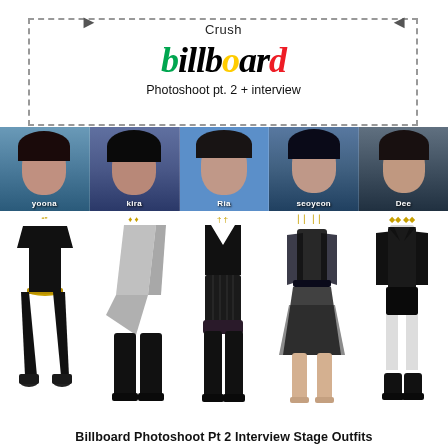Crush
billboard
Photoshoot pt. 2 + interview
[Figure (photo): Five female K-pop group members (Yoona, Kira, Ria, Seoyeon, Dee) in a blue-toned photoshoot strip with names overlaid]
[Figure (illustration): Five stage outfits for Billboard Photoshoot Pt 2 Interview: Yoona in black jumpsuit with gold belt; Kira in silver asymmetric top with black boots; Ria in black corset bodysuit with thigh-high boots; Seoyeon in black lace top with tulle skirt and nude boots; Dee in black leather jacket and shorts with ankle boots. Each outfit has accessory earrings shown above.]
Billboard Photoshoot Pt 2 Interview Stage Outfits